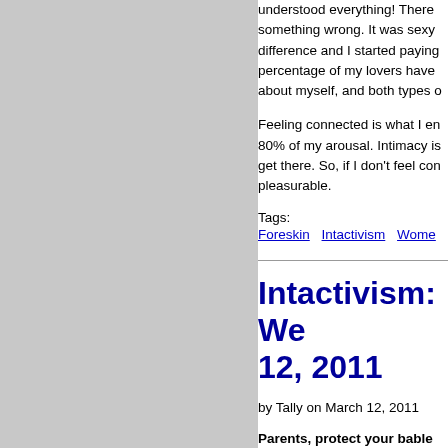understood everything! There something wrong. It was sexy difference and I started paying percentage of my lovers have about myself, and both types o
Feeling connected is what I en 80% of my arousal. Intimacy is get there. So, if I don't feel cor pleasurable.
Tags:
Foreskin   Intactivism   Wome
Intactivism: We 12, 2011
by Tally on March 12, 2011
Parents, protect your bable Intactivism. The following list blogs, articles, and websites ot Intactivists that were published week. This is a running tally of